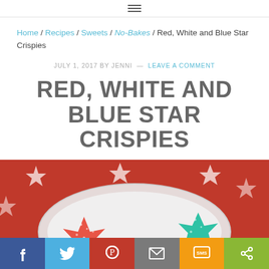≡
Home / Recipes / Sweets / No-Bakes / Red, White and Blue Star Crispies
JULY 1, 2017 BY JENNI — LEAVE A COMMENT
RED, WHITE AND BLUE STAR CRISPIES
[Figure (photo): Star-shaped red, white, and blue rice crispy treats on a white plate with a red and white star-patterned background]
Facebook | Twitter | Pinterest | Email | SMS | Share